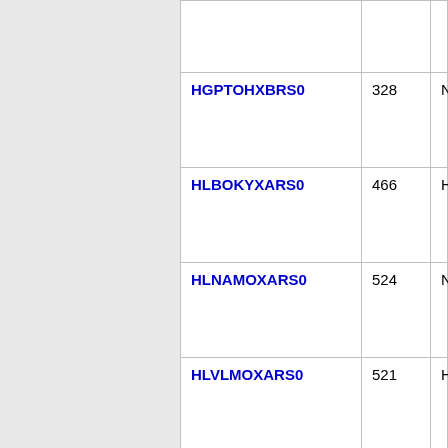| Code | Number | City |
| --- | --- | --- |
|  |  |  |
| HGPTOHXBRS0 | 328 | N/A |
| HLBOKYXARS0 | 466 | HILLSBORO |
| HLNAMOXARS0 | 524 | N/A |
| HLVLMOXARS0 | 521 | HALLSVILLE |
| HMTNMOXARS0 | 524 | HAMILTON |